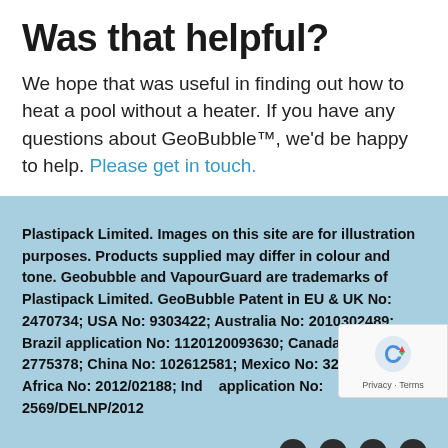Was that helpful?
We hope that was useful in finding out how to heat a pool without a heater. If you have any questions about GeoBubble™, we'd be happy to help. Please get in touch.
Plastipack Limited. Images on this site are for illustration purposes. Products supplied may differ in colour and tone. Geobubble and VapourGuard are trademarks of Plastipack Limited. GeoBubble Patent in EU & UK No: 2470734; USA No: 9303422; Australia No: 2010302489; Brazil application No: 1120120093630; Canada No: 2775378; China No: 102612581; Mexico No: 322236; South Africa No: 2012/02188; India application No: 2569/DELNP/2012